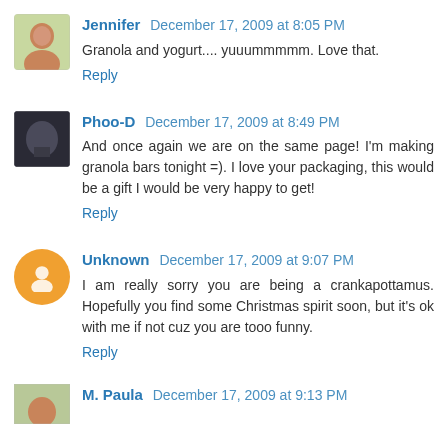[Figure (photo): Profile photo of Jennifer, a woman]
Jennifer December 17, 2009 at 8:05 PM
Granola and yogurt.... yuuummmmm. Love that.
Reply
[Figure (photo): Profile photo of Phoo-D, dark image]
Phoo-D December 17, 2009 at 8:49 PM
And once again we are on the same page! I'm making granola bars tonight =). I love your packaging, this would be a gift I would be very happy to get!
Reply
[Figure (illustration): Default blogger avatar circle icon in orange]
Unknown December 17, 2009 at 9:07 PM
I am really sorry you are being a crankapottamus. Hopefully you find some Christmas spirit soon, but it's ok with me if not cuz you are tooo funny.
Reply
[Figure (photo): Partial profile photo of M. Paula]
M. Paula December 17, 2009 at 9:13 PM